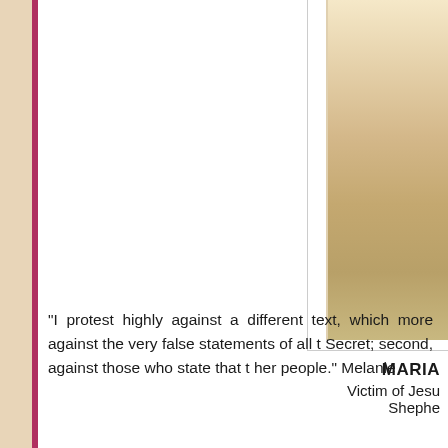[Figure (photo): Partial photograph visible in the top right corner of the page, showing a landscape or portrait with beige/tan tones, partially cropped.]
MARIA
Victim of Jesu
Shephe
"I protest highly against a different text, which more against the very false statements of all t Secret; second, against those who state that t her people." Melanie